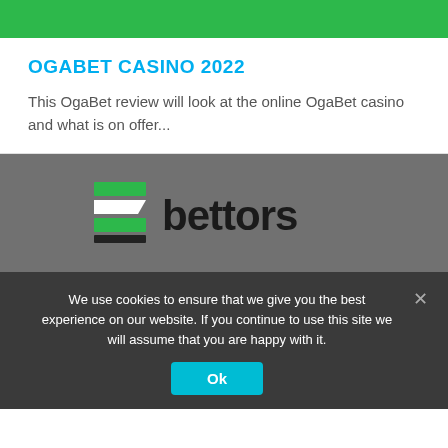OGABET CASINO 2022
This OgaBet review will look at the online OgaBet casino and what is on offer...
[Figure (logo): Bettors logo with green-and-white striped icon and dark 'bettors' wordmark]
We use cookies to ensure that we give you the best experience on our website. If you continue to use this site we will assume that you are happy with it.